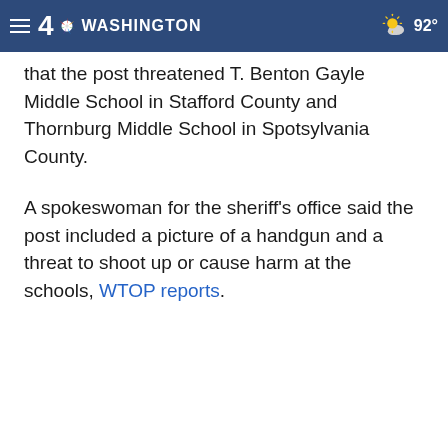NBC4 Washington — 92°
that the post threatened T. Benton Gayle Middle School in Stafford County and Thornburg Middle School in Spotsylvania County.
A spokeswoman for the sheriff's office said the post included a picture of a handgun and a threat to shoot up or cause harm at the schools, WTOP reports.